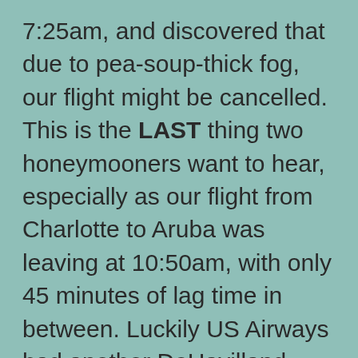7:25am, and discovered that due to pea-soup-thick fog, our flight might be cancelled. This is the LAST thing two honeymooners want to hear, especially as our flight from Charlotte to Aruba was leaving at 10:50am, with only 45 minutes of lag time in between. Luckily US Airways had another DeHavilland Dash-7 left over from the night before, so both flights (ours and a previously cancelled one from 6:30am) were converted to one and we winged our way to Charlotte, holding our breath as to whether or not we would actually make the connection. We arrived at 10:42, leaving us exactly 8